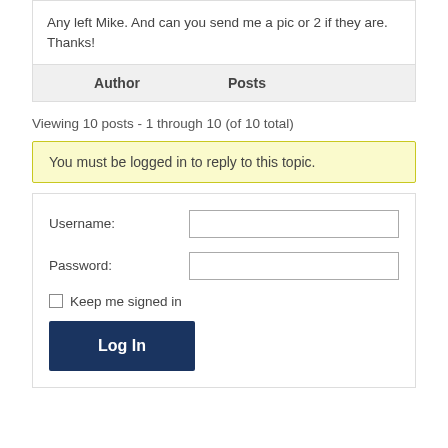Any left Mike. And can you send me a pic or 2 if they are. Thanks!
| Author | Posts |
| --- | --- |
Viewing 10 posts - 1 through 10 (of 10 total)
You must be logged in to reply to this topic.
Username:
Password:
Keep me signed in
Log In